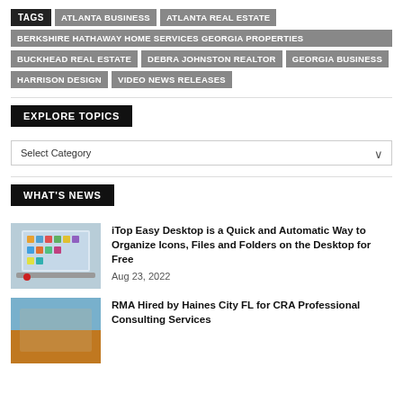TAGS | ATLANTA BUSINESS | ATLANTA REAL ESTATE | BERKSHIRE HATHAWAY HOME SERVICES GEORGIA PROPERTIES | BUCKHEAD REAL ESTATE | DEBRA JOHNSTON REALTOR | GEORGIA BUSINESS | HARRISON DESIGN | VIDEO NEWS RELEASES
EXPLORE TOPICS
Select Category
WHAT'S NEWS
iTop Easy Desktop is a Quick and Automatic Way to Organize Icons, Files and Folders on the Desktop for Free
Aug 23, 2022
RMA Hired by Haines City FL for CRA Professional Consulting Services